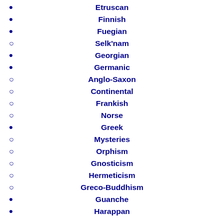Etruscan
Finnish
Fuegian
Selk'nam
Georgian
Germanic
Anglo-Saxon
Continental
Frankish
Norse
Greek
Mysteries
Orphism
Gnosticism
Hermeticism
Greco-Buddhism
Guanche
Harappan